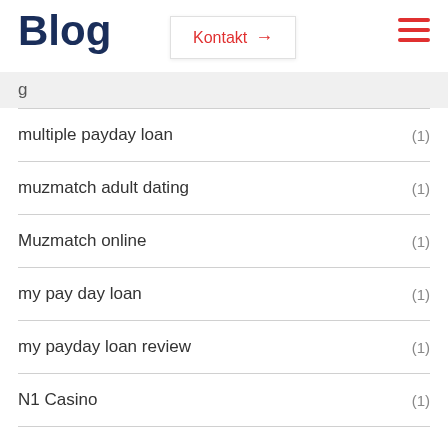Blog | Kontakt →
multiple payday loan (1)
muzmatch adult dating (1)
Muzmatch online (1)
my pay day loan (1)
my payday loan review (1)
N1 Casino (1)